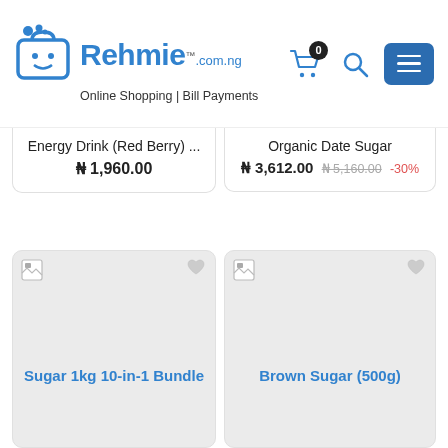[Figure (logo): Rehmie.com.ng logo with shopping bag icon, tagline: Online Shopping | Bill Payments]
Energy Drink (Red Berry) ...
₦ 1,960.00
Organic Date Sugar
₦ 3,612.00 ₦ 5,160.00 -30%
[Figure (photo): Sugar 1kg 10-in-1 Bundle product image placeholder]
Sugar 1kg 10-in-1 Bundle
[Figure (photo): Brown Sugar (500g) product image placeholder]
Brown Sugar (500g)